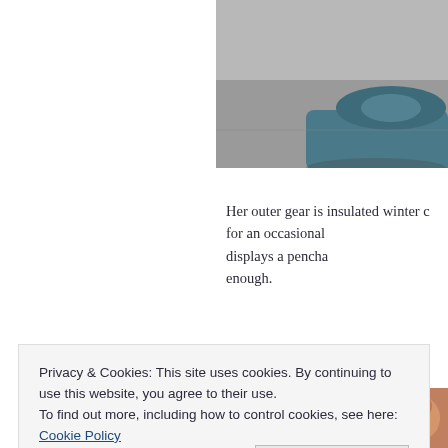[Figure (photo): Partial photograph of a car on a road, showing blue/teal car body against grey pavement, top-right corner of page]
Her outer gear is insulated winter c... for an occasional... displays a pencha... enough.
[Figure (photo): Partial photograph bottom-right, showing a person's hand or face with reddish/warm tones]
Privacy & Cookies: This site uses cookies. By continuing to use this website, you agree to their use.
To find out more, including how to control cookies, see here: Cookie Policy
Close and accept